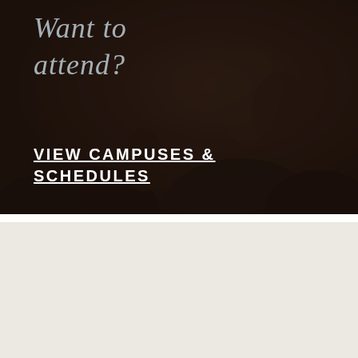[Figure (photo): Dark background photo of people at a church gathering/worship event with dim lighting]
Want to attend?
VIEW CAMPUSES & SCHEDULES
[Figure (logo): Hillcrest Church logo with horizontal striped circle icon and HILLCREST text]
© Copyright 2022 Hillcrest Church.
Site by Blackton.